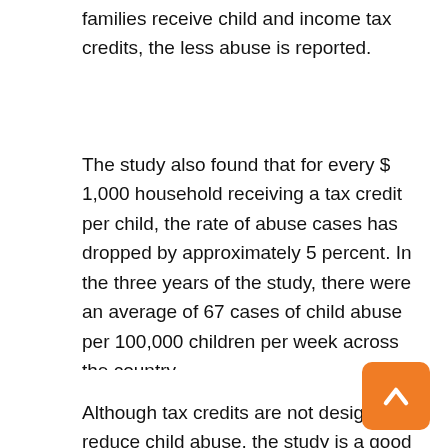families receive child and income tax credits, the less abuse is reported.
The study also found that for every $ 1,000 household receiving a tax credit per child, the rate of abuse cases has dropped by approximately 5 percent. In the three years of the study, there were an average of 67 cases of child abuse per 100,000 children per week across the country.
Although tax credits are not designed to reduce child abuse, the study is a good example of how public policy can affect a wide range of issues, says Ali Rohani-Rahbar, a professor in the Department of Epidemiology and Pediatrics at the University of Washington. Author of the study.